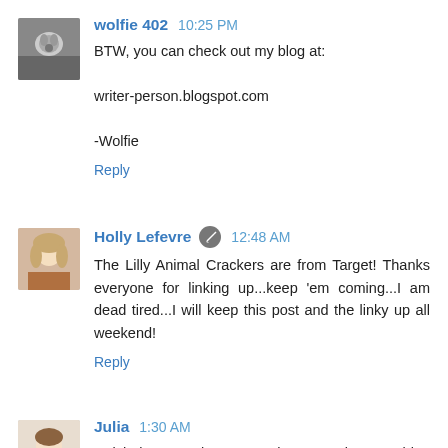[Figure (photo): Avatar image of a wolf or dog, small square thumbnail]
wolfie 402  10:25 PM
BTW, you can check out my blog at:

writer-person.blogspot.com

-Wolfie
Reply
[Figure (photo): Avatar image of Holly Lefevre, a woman with blonde hair]
Holly Lefevre  12:48 AM
The Lilly Animal Crackers are from Target! Thanks everyone for linking up...keep 'em coming...I am dead tired...I will keep this post and the linky up all weekend!
Reply
[Figure (photo): Avatar image of Julia]
Julia  1:30 AM
Artichoke Cupcakes? Wow thats amazing! Fun blog hop you have here. Making free digi scrap kits to giveaway for free tickles me pink. I love seeing what people can make